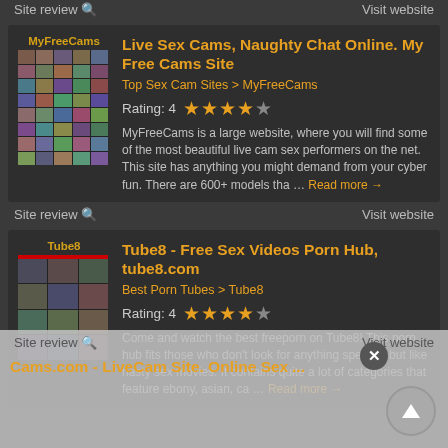Site review 🔍  Visit website
Live Sex Cams, Naughty Chat Online. My Free Cams Site
Top Sex Cam Sites > MyFreeCams
Rating: 4  ★★★★☆
MyFreeCams is a large website, where you will find some of the most beautiful live cam sex performers on the net. This site has anything you might demand from your cyber fun. There are 600+ models tha … Read more →
Site review 🔍  Visit website
Tube8 - Free Sex Videos Porn Hub, tube8.com
Best Porn Tubes > Tube8
Rating: 4  ★★★★☆
Come and watch the best freeporn on Tube8! This porn hub fits those who don't look for anything specific, but like nasty sex movies. It contains quite a lot of categories that feature ebony, asian, ca … Read more →
Site review 🔍  Visit website
Cams.com - LiveCam Site. Online Sex ...